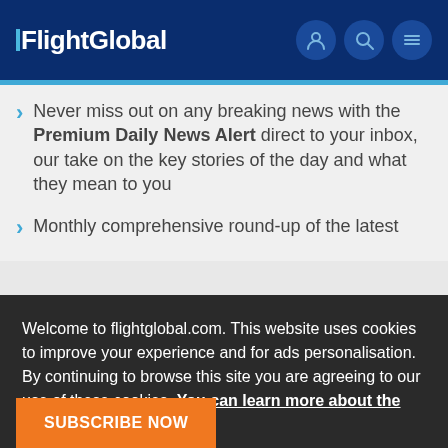FlightGlobal
Never miss out on any breaking news with the Premium Daily News Alert direct to your inbox, our take on the key stories of the day and what they mean to you
Monthly comprehensive round-up of the latest
Welcome to flightglobal.com. This website uses cookies to improve your experience and for ads personalisation. By continuing to browse this site you are agreeing to our use of these cookies. You can learn more about the cookies we use here.
OK
SUBSCRIBE NOW